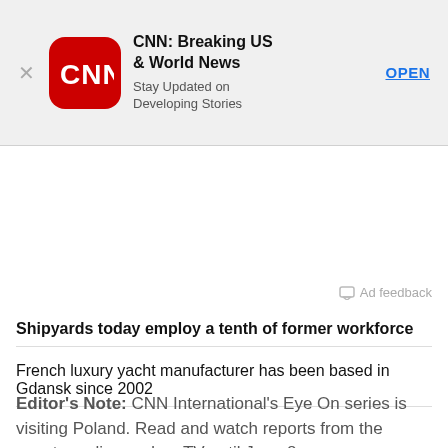[Figure (screenshot): CNN app advertisement banner with CNN logo (red rounded square), title 'CNN: Breaking US & World News', subtitle 'Stay Updated on Developing Stories', OPEN button, and close X button]
Ad feedback
Shipyards today employ a tenth of former workforce
French luxury yacht manufacturer has been based in Gdansk since 2002
Editor's Note: CNN International's Eye On series is visiting Poland. Read and watch reports from the country online and on TV until June 8.